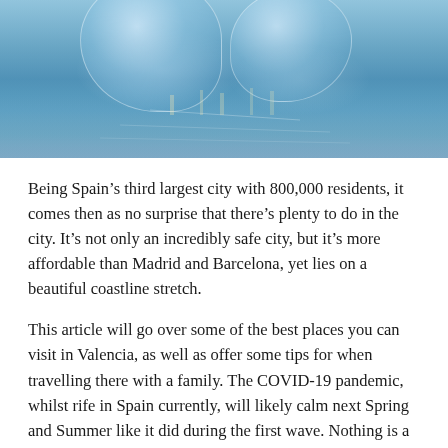[Figure (photo): Blue glass sphere ornaments reflected on a water surface with a blue sky background]
Being Spain’s third largest city with 800,000 residents, it comes then as no surprise that there’s plenty to do in the city. It’s not only an incredibly safe city, but it’s more affordable than Madrid and Barcelona, yet lies on a beautiful coastline stretch.
This article will go over some of the best places you can visit in Valencia, as well as offer some tips for when travelling there with a family. The COVID-19 pandemic, whilst rife in Spain currently, will likely calm next Spring and Summer like it did during the first wave. Nothing is a certainty though during these times, so it’s important to check the latest news and protocols before attempting to travel.